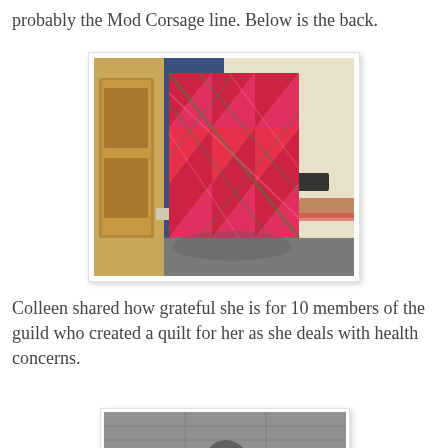probably the Mod Corsage line. Below is the back.
[Figure (photo): A colorful quilt with a geometric red, pink, and green pattern hung/displayed in a room with blue walls, a wooden door, and gray carpet.]
Colleen shared how grateful she is for 10 members of the guild who created a quilt for her as she deals with health concerns.
[Figure (photo): Partial view of the top of a second photo, showing a gray ceiling with a circular fixture, partially cut off at the bottom of the page.]